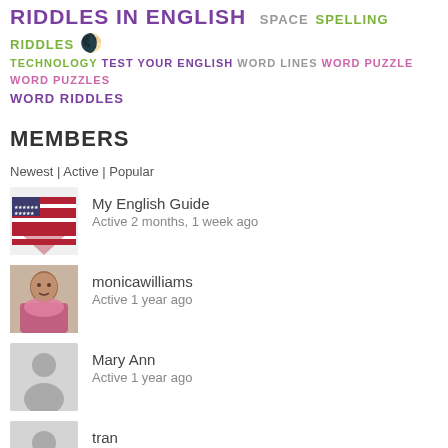RIDDLES IN ENGLISH SPACE SPELLING RIDDLES
TECHNOLOGY TEST YOUR ENGLISH WORD LINES WORD PUZZLE WORD PUZZLES WORD RIDDLES
MEMBERS
Newest | Active | Popular
[Figure (photo): Avatar for My English Guide: US flag image]
My English Guide
Active 2 months, 1 week ago
[Figure (photo): Profile photo of monicawilliams: woman in pink scarf]
monicawilliams
Active 1 year ago
[Figure (photo): Generic gray avatar silhouette for Mary Ann]
Mary Ann
Active 1 year ago
[Figure (photo): Generic gray avatar silhouette for tran]
tran
Active 1 year, 2 months ago